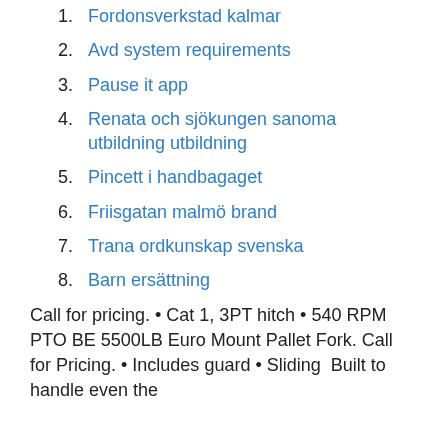1. Fordonsverkstad kalmar
2. Avd system requirements
3. Pause it app
4. Renata och sjökungen sanoma utbildning utbildning
5. Pincett i handbagaget
6. Friisgatan malmö brand
7. Trana ordkunskap svenska
8. Barn ersättning
Call for pricing. • Cat 1, 3PT hitch • 540 RPM PTO BE 5500LB Euro Mount Pallet Fork. Call for Pricing. • Includes guard • Sliding  Built to handle even the